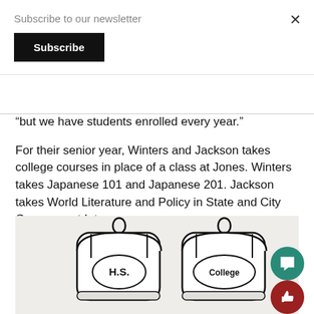Subscribe to our newsletter
Subscribe
“but we have students enrolled every year.”
For their senior year, Winters and Jackson takes college courses in place of a class at Jones. Winters takes Japanese 101 and Japanese 201. Jackson takes World Literature and Policy in State and City Government Intro.
[Figure (illustration): Hand-drawn illustration of two backpacks side by side. Left backpack is labeled 'H.S.' and right backpack is labeled 'College'.]